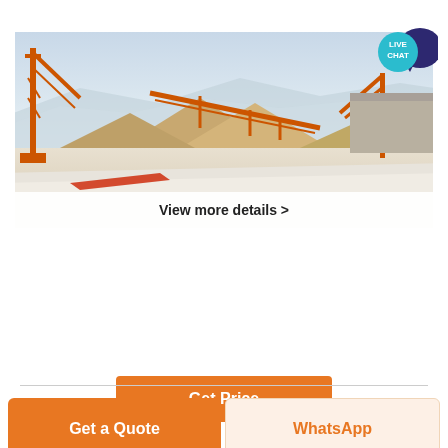[Figure (photo): Industrial mining/quarrying machinery with orange conveyor belts and large stockpiles of sand or gravel material at a processing site, with mountains in background. A LIVE CHAT badge is visible in the top right corner.]
View more details >
marble grinder machine for sale in rome italy - .
marble grinder machine for sale in rome italy. Online Service. ... Used marble machines by Comandulli and other producers in Italy and worldwide. ...
Get Price
Get a Quote
WhatsApp